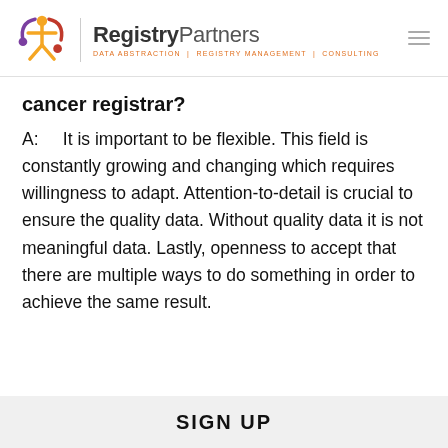[Figure (logo): RegistryPartners logo with colorful figure icon and tagline: DATA ABSTRACTION | REGISTRY MANAGEMENT | CONSULTING]
cancer registrar?
A:    It is important to be flexible. This field is constantly growing and changing which requires willingness to adapt. Attention-to-detail is crucial to ensure the quality data. Without quality data it is not meaningful data. Lastly, openness to accept that there are multiple ways to do something in order to achieve the same result.
SIGN UP